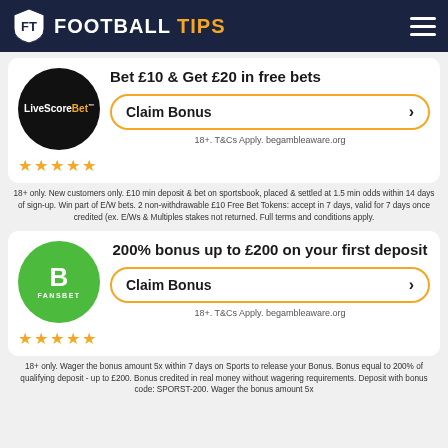FOOTBALL TIPS
Bet £10 & Get £20 in free bets
Claim Bonus
18+. T&Cs Apply. begambleaware.org
18+ only. New customers only. £10 min deposit & bet on sportsbook, placed & settled at 1.5 min odds within 14 days of sign-up. Win part of E/W bets. 2 non-withdrawable £10 Free Bet Tokens: accept in 7 days, valid for 7 days once credited (ex. E/Ws & Multiples stakes not returned. Full terms and conditions apply.
200% bonus up to £200 on your first deposit
Claim Bonus
18+. T&Cs Apply. begambleaware.org
18+ only. Wager the bonus amount 5x within 7 days on Sports to release your Bonus. Bonus equal to 200% of qualifying deposit - up to £200. Bonus credited in real money without wagering requirements. Deposit with bonus code: SPORST-200. Wager the bonus amount 5x